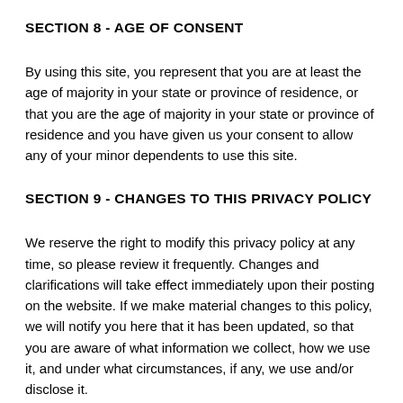SECTION 8 - AGE OF CONSENT
By using this site, you represent that you are at least the age of majority in your state or province of residence, or that you are the age of majority in your state or province of residence and you have given us your consent to allow any of your minor dependents to use this site.
SECTION 9 - CHANGES TO THIS PRIVACY POLICY
We reserve the right to modify this privacy policy at any time, so please review it frequently. Changes and clarifications will take effect immediately upon their posting on the website. If we make material changes to this policy, we will notify you here that it has been updated, so that you are aware of what information we collect, how we use it, and under what circumstances, if any, we use and/or disclose it.
If our store is acquired or merged with another company, your information may be transferred to the new owners so that we may continue to sell products to you.